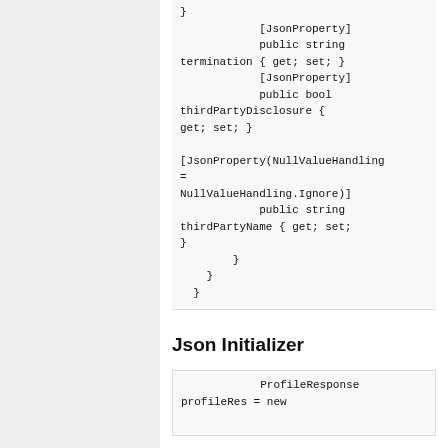}
            [JsonProperty]
            public string termination { get; set; }
            [JsonProperty]
            public bool thirdPartyDisclosure { get; set; }

[JsonProperty(NullValueHandling = NullValueHandling.Ignore)]
            public string thirdPartyName { get; set; }
        }
    }
}
Json Initializer
ProfileResponse
profileRes = new